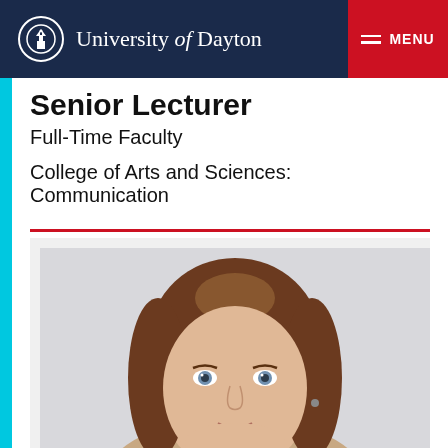University of Dayton
Senior Lecturer
Full-Time Faculty
College of Arts and Sciences: Communication
[Figure (photo): Headshot portrait of a woman with straight brown hair, blue eyes, facing the camera]